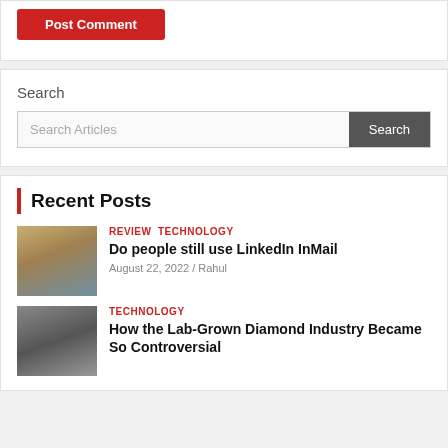[Figure (other): Post Comment button (red button partially visible at top)]
Search
[Figure (other): Search bar with placeholder 'Search Articles' and a dark grey Search button]
Recent Posts
[Figure (photo): Thumbnail of a laptop showing a LinkedIn-style screen]
REVIEW  TECHNOLOGY
Do people still use LinkedIn InMail
August 22, 2022 / Rahul
[Figure (photo): Thumbnail of lab-grown diamond or mechanical gear in greyscale]
TECHNOLOGY
How the Lab-Grown Diamond Industry Became So Controversial